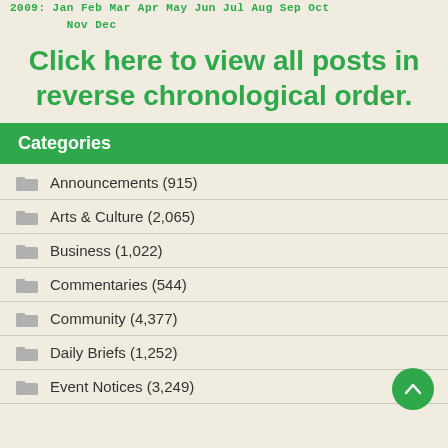2009: Jan Feb Mar Apr May Jun Jul Aug Sep Oct Nov Dec
Click here to view all posts in reverse chronological order.
Categories
Announcements (915)
Arts & Culture (2,065)
Business (1,022)
Commentaries (544)
Community (4,377)
Daily Briefs (1,252)
Event Notices (3,249)